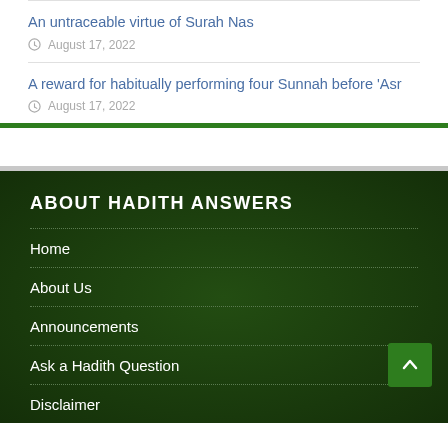An untraceable virtue of Surah Nas
August 17, 2022
A reward for habitually performing four Sunnah before 'Asr
August 17, 2022
ABOUT HADITH ANSWERS
Home
About Us
Announcements
Ask a Hadith Question
Disclaimer